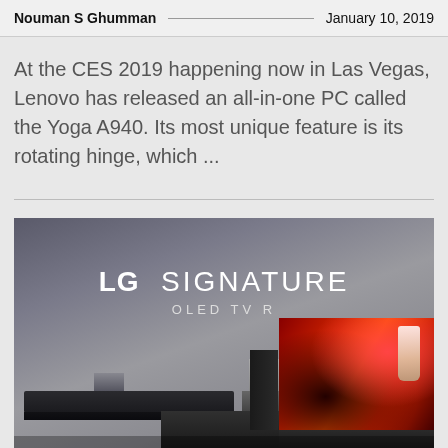Nouman S Ghumman — January 10, 2019
At the CES 2019 happening now in Las Vegas, Lenovo has released an all-in-one PC called the Yoga A940. Its most unique feature is its rotating hinge, which ...
[Figure (photo): LG Signature OLED TV R product photo showing the TV and associated hardware components on a dark gradient background]